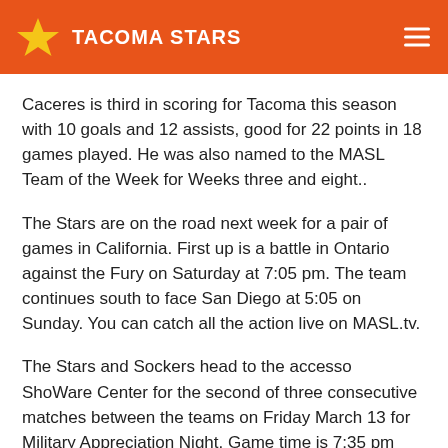TACOMA STARS
Caceres is third in scoring for Tacoma this season with 10 goals and 12 assists, good for 22 points in 18 games played. He was also named to the MASL Team of the Week for Weeks three and eight..
The Stars are on the road next week for a pair of games in California. First up is a battle in Ontario against the Fury on Saturday at 7:05 pm. The team continues south to face San Diego at 5:05 on Sunday. You can catch all the action live on MASL.tv.
The Stars and Sockers head to the accesso ShoWare Center for the second of three consecutive matches between the teams on Friday March 13 for Military Appreciation Night. Game time is 7:35 pm and you can get your tickets at tacomastars.showare.com today.